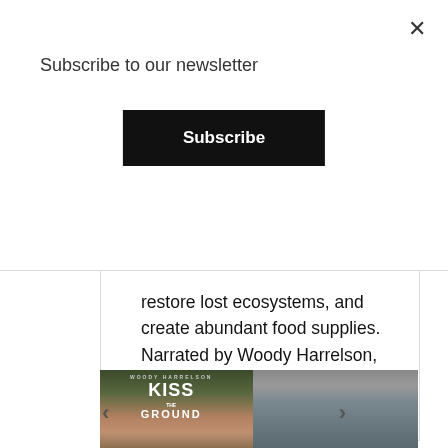×
Subscribe to our newsletter
Subscribe
restore lost ecosystems, and create abundant food supplies. Narrated by Woody Harrelson, “Kiss the Ground” premieres on Netflix on September 22.
[Figure (photo): Photo of a man standing in front of a 'Kiss the Ground' movie poster/step-and-repeat banner at a premiere event.]